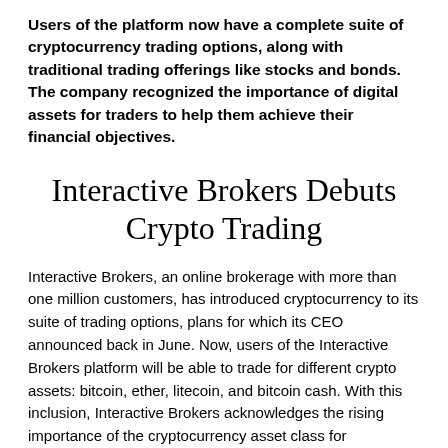Users of the platform now have a complete suite of cryptocurrency trading options, along with traditional trading offerings like stocks and bonds. The company recognized the importance of digital assets for traders to help them achieve their financial objectives.
Interactive Brokers Debuts Crypto Trading
Interactive Brokers, an online brokerage with more than one million customers, has introduced cryptocurrency to its suite of trading options, plans for which its CEO announced back in June. Now, users of the Interactive Brokers platform will be able to trade for different crypto assets: bitcoin, ether, litecoin, and bitcoin cash. With this inclusion, Interactive Brokers acknowledges the rising importance of the cryptocurrency asset class for